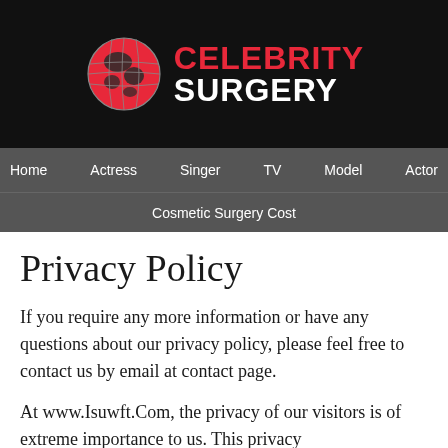[Figure (logo): Celebrity Surgery website logo with pink/red globe icon and text 'CELEBRITY SURGERY' in red and white on black background]
Home   Actress   Singer   TV   Model   Actor
Cosmetic Surgery Cost
Privacy Policy
If you require any more information or have any questions about our privacy policy, please feel free to contact us by email at contact page.
At www.Isuwft.Com, the privacy of our visitors is of extreme importance to us. This privacy policy document covers the types of personal